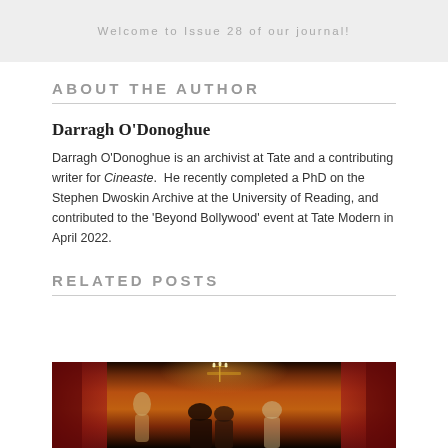Welcome to Issue 28 of our journal!
ABOUT THE AUTHOR
Darragh O'Donoghue
Darragh O'Donoghue is an archivist at Tate and a contributing writer for Cineaste. He recently completed a PhD on the Stephen Dwoskin Archive at the University of Reading, and contributed to the 'Beyond Bollywood' event at Tate Modern in April 2022.
RELATED POSTS
[Figure (photo): A theatrical scene with red curtains, candelabras, and figures in period costume on a stage or set.]